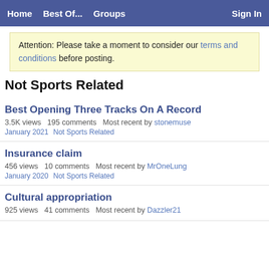Home   Best Of...   Groups   Sign In
Attention: Please take a moment to consider our terms and conditions before posting.
Not Sports Related
Best Opening Three Tracks On A Record
3.5K views   195 comments   Most recent by stonemuse
January 2021   Not Sports Related
Insurance claim
456 views   10 comments   Most recent by MrOneLung
January 2020   Not Sports Related
Cultural appropriation
925 views   41 comments   Most recent by Dazzler21